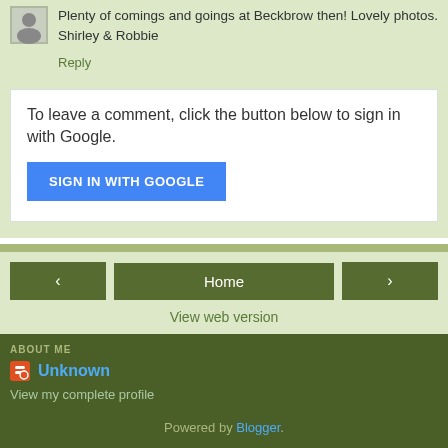Plenty of comings and goings at Beckbrow then! Lovely photos. Shirley & Robbie
Reply
To leave a comment, click the button below to sign in with Google.
SIGN IN WITH GOOGLE
Home
View web version
ABOUT ME
Unknown
View my complete profile
Powered by Blogger.